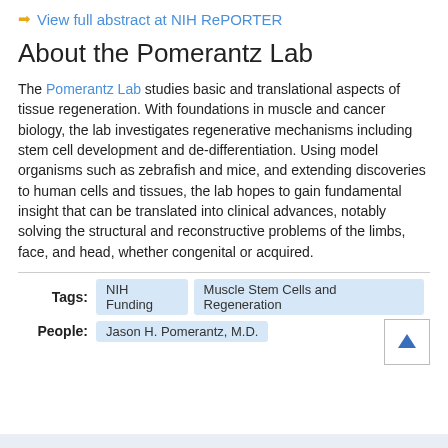View full abstract at NIH RePORTER
About the Pomerantz Lab
The Pomerantz Lab studies basic and translational aspects of tissue regeneration. With foundations in muscle and cancer biology, the lab investigates regenerative mechanisms including stem cell development and de-differentiation. Using model organisms such as zebrafish and mice, and extending discoveries to human cells and tissues, the lab hopes to gain fundamental insight that can be translated into clinical advances, notably solving the structural and reconstructive problems of the limbs, face, and head, whether congenital or acquired.
Tags: NIH Funding, Muscle Stem Cells and Regeneration
People: Jason H. Pomerantz, M.D.